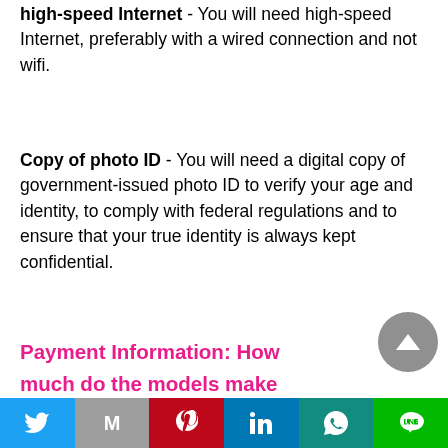high-speed Internet - You will need high-speed Internet, preferably with a wired connection and not wifi.
Copy of photo ID - You will need a digital copy of government-issued photo ID to verify your age and identity, to comply with federal regulations and to ensure that your true identity is always kept confidential.
Payment Information: How much do the models make
Twitter | Gmail | Pinterest | LinkedIn | WhatsApp | Line